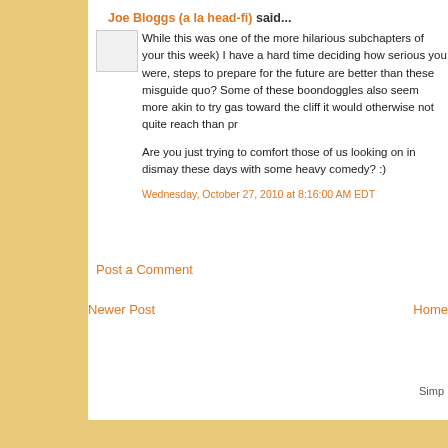Joe Bloggs (a la head-fi) said...
While this was one of the more hilarious subchapters of your this week) I have a hard time deciding how serious you were, steps to prepare for the future are better than these misguide quo? Some of these boondoggles also seem more akin to try gas toward the cliff it would otherwise not quite reach than pr
Are you just trying to comfort those of us looking on in dismay these days with some heavy comedy? :)
Wednesday, October 27, 2010 at 8:16:00 AM EDT
Post a Comment
Newer Post
Home
Simp